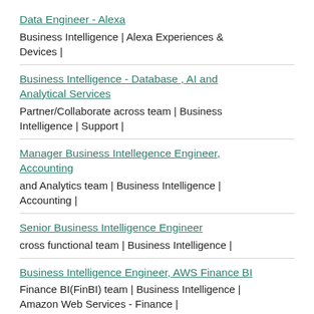Data Engineer - Alexa
Business Intelligence | Alexa Experiences & Devices |
Business Intelligence - Database , AI and Analytical Services
Partner/Collaborate across team | Business Intelligence | Support |
Manager Business Intellegence Engineer, Accounting
and Analytics team | Business Intelligence | Accounting |
Senior Business Intelligence Engineer
cross functional team | Business Intelligence |
Business Intelligence Engineer, AWS Finance BI
Finance BI(FinBI) team | Business Intelligence | Amazon Web Services - Finance |